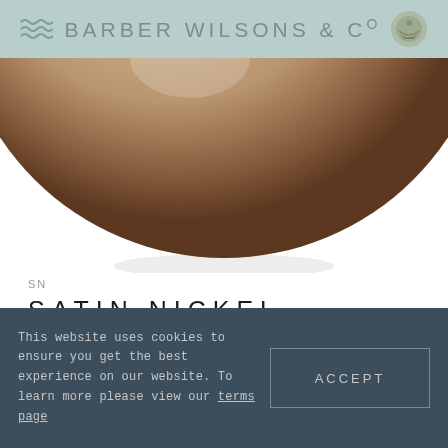BARBER WILSONS & Co
[Figure (photo): Bottom portion of a satin nickel sphere/ball with warm beige-tan finish, shown against white background with soft shadow beneath]
SN
SATIN NICKEL
Satin Nickel built up of a satin nickel base, followed with a nickel finish application. Hand dipped to enhance the hue of the metal, this finish has real depth and warmth.
This website uses cookies to ensure you get the best experience on our website. To learn more please view our terms page